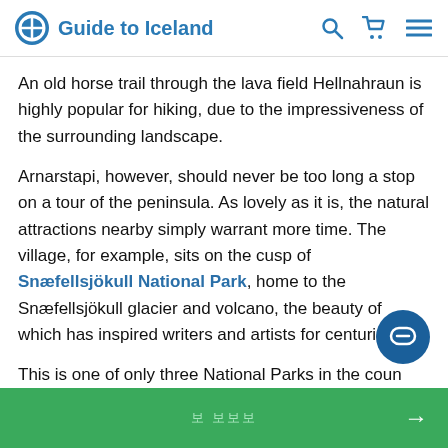Guide to Iceland
An old horse trail through the lava field Hellnahraun is highly popular for hiking, due to the impressiveness of the surrounding landscape.
Arnarstapi, however, should never be too long a stop on a tour of the peninsula. As lovely as it is, the natural attractions nearby simply warrant more time. The village, for example, sits on the cusp of Snæfellsjökull National Park, home to the Snæfellsjökull glacier and volcano, the beauty of which has inspired writers and artists for centuries.
This is one of only three National Parks in the country, but it is to the credit of the peninsula's beauty that it is far